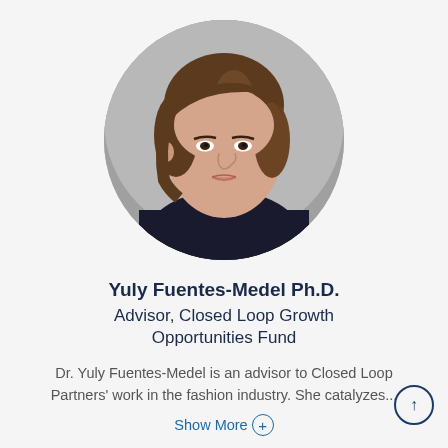[Figure (photo): Circular headshot photo of Yuly Fuentes-Medel Ph.D., a woman with short brown hair wearing a dark top, against a gray background.]
Yuly Fuentes-Medel Ph.D.
Advisor, Closed Loop Growth Opportunities Fund
Dr. Yuly Fuentes-Medel is an advisor to Closed Loop Partners' work in the fashion industry. She catalyzes...
Show More